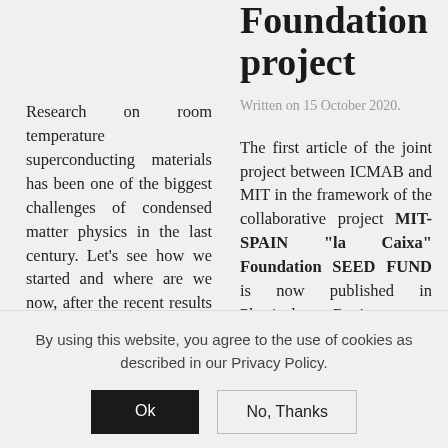Foundation project
Written on 15 October 2020.
Research on room temperature superconducting materials has been one of the biggest challenges of condensed matter physics in the last century. Let's see how we started and where are we now, after the recent results obtained by researchers at the University at Rochester
The first article of the joint project between ICMAB and MIT in the framework of the collaborative project MIT-SPAIN "la Caixa" Foundation SEED FUND is now published in Physical Review
By using this website, you agree to the use of cookies as described in our Privacy Policy.